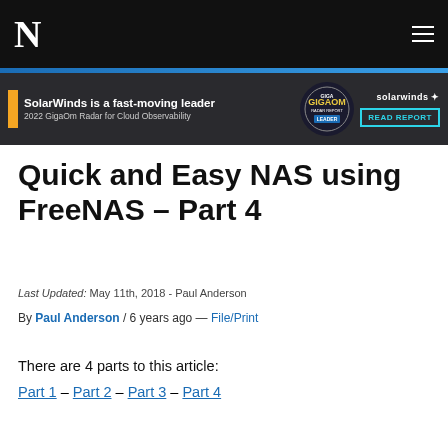N
[Figure (infographic): SolarWinds advertisement banner: 'SolarWinds is a fast-moving leader – 2022 GigaOm Radar for Cloud Observability' with GigaOm Radar Report Leader badge and READ REPORT button]
Quick and Easy NAS using FreeNAS – Part 4
Last Updated: May 11th, 2018 - Paul Anderson
By Paul Anderson / 6 years ago — File/Print
There are 4 parts to this article:
Part 1 – Part 2 – Part 3 – Part 4